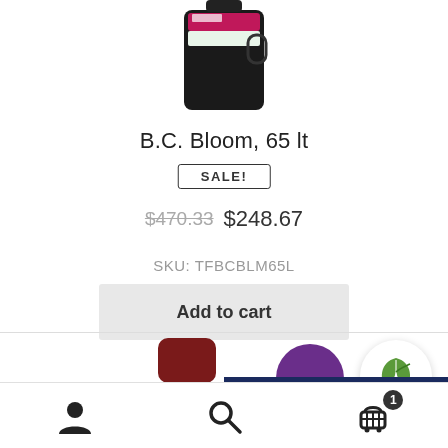[Figure (photo): Product photo of B.C. Bloom 65lt container, dark bottle with pink/green label, partially cropped at top of page]
B.C. Bloom, 65 lt
SALE!
$470.33  $248.67
SKU: TFBCBLM65L
Add to cart
[Figure (logo): Green leaf logo in white circular bubble]
[Figure (photo): Bottom product strip showing partial product icons]
User account | Search | Cart (1)